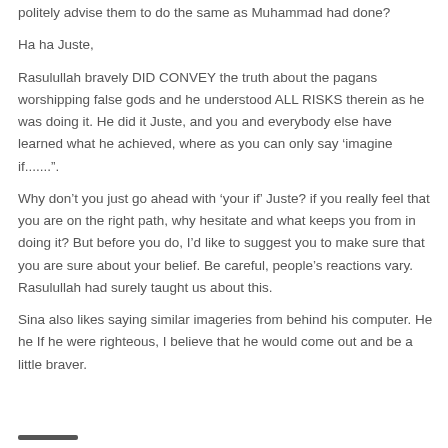politely advise them to do the same as Muhammad had done?
Ha ha Juste,
Rasulullah bravely DID CONVEY the truth about the pagans worshipping false gods and he understood ALL RISKS therein as he was doing it. He did it Juste, and you and everybody else have learned what he achieved, where as you can only say ‘imagine if.......”.
Why don’t you just go ahead with ‘your if’ Juste? if you really feel that you are on the right path, why hesitate and what keeps you from in doing it? But before you do, I’d like to suggest you to make sure that you are sure about your belief. Be careful, people’s reactions vary. Rasulullah had surely taught us about this.
Sina also likes saying similar imageries from behind his computer. He he If he were righteous, I believe that he would come out and be a little braver.